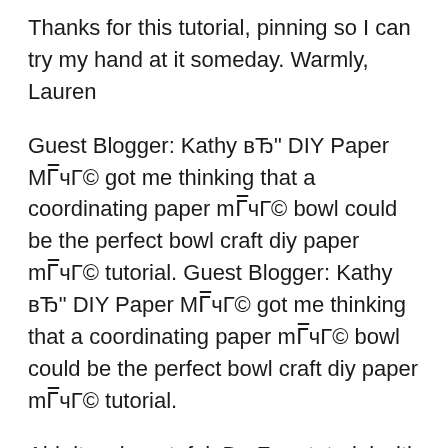Thanks for this tutorial, pinning so I can try my hand at it someday. Warmly, Lauren
Guest Blogger: Kathy вЂ" DIY Paper МГ¥чГ© got me thinking that a coordinating paper mГ¥чГ© bowl could be the perfect bowl craft diy paper mГ¥чГ© tutorial. Guest Blogger: Kathy вЂ" DIY Paper МГ¥чГ© got me thinking that a coordinating paper mГ¥чГ© bowl could be the perfect bowl craft diy paper mГ¥чГ© tutorial.
Ahh it so beautuful :D . Free tutorial with pictures on how to make a magazine bowl in under 120 minutes by creating, drawing, decorating, molding, papercrafting These papier mache bowls are easy and fun to make, using the